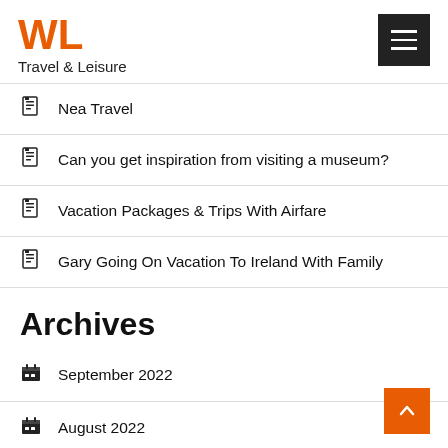WL Travel & Leisure
Nea Travel
Can you get inspiration from visiting a museum?
Vacation Packages & Trips With Airfare
Gary Going On Vacation To Ireland With Family
Archives
September 2022
August 2022
July 2022